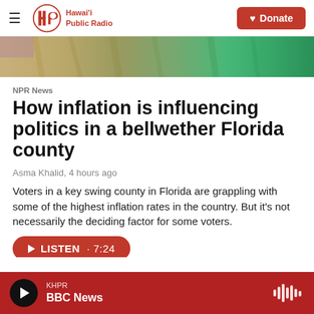Hawai'i Public Radio — Donate
[Figure (photo): Partial view of colorful folded fabrics or clothing items in various earth and green tones]
NPR News
How inflation is influencing politics in a bellwether Florida county
Asma Khalid, 4 hours ago
Voters in a key swing county in Florida are grappling with some of the highest inflation rates in the country. But it's not necessarily the deciding factor for some voters.
KHPR — BBC News — LISTEN · 7:24